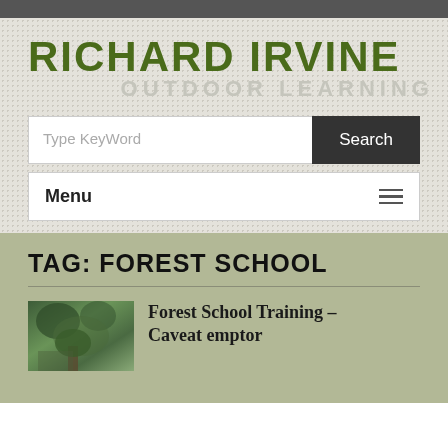RICHARD IRVINE
OUTDOOR LEARNING
Type KeyWord
Search
Menu
TAG: FOREST SCHOOL
[Figure (photo): Thumbnail photo of person in forest/woodland setting]
Forest School Training – Caveat emptor